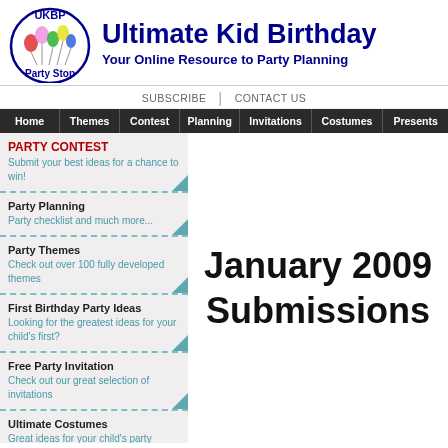Ultimate Kid Birthday Party Stop — Your Online Resource to Party Planning
SUBSCRIBE | CONTACT US
Home | Themes | Contest | Planning | Invitations | Costumes | Presents
PARTY CONTEST — Submit your best ideas for a chance to win!
Party Planning — Party checklist and much more...
Party Themes — Check out over 100 fully developed themes
First Birthday Party Ideas — Looking for the greatest ideas for your child's first?
Free Party Invitation — Check out our great selection of invitations
Ultimate Costumes — Great ideas for your child's party costume
Ultimate Present — Tons of ideas for that perfect
January 2009 Submissions